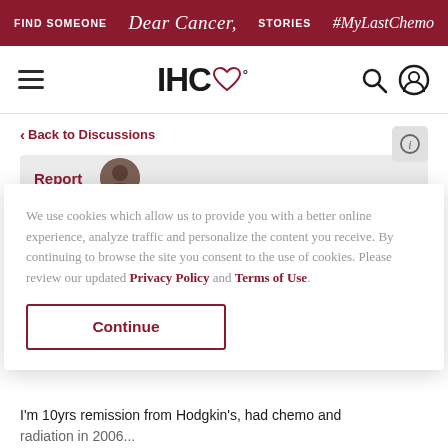FIND SOMEONE | Dear Cancer, | STORIES | #MyLastChemo
[Figure (logo): IHC logo with heart symbol]
< Back to Discussions
Report
We use cookies which allow us to provide you with a better online experience, analyze traffic and personalize the content you receive. By continuing to browse the site you consent to the use of cookies. Please review our updated Privacy Policy and Terms of Use.
Continue
I'm 10yrs remission from Hodgkin's, had chemo and radiation in 2006, and stem cell transplant in 2007.